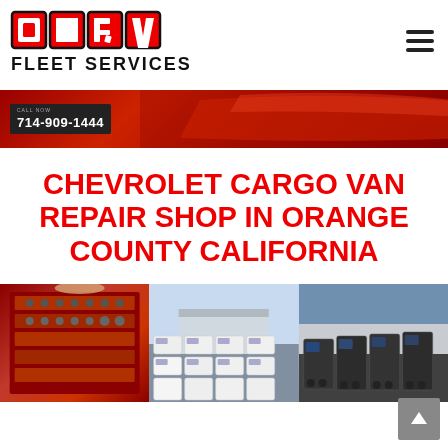[Figure (logo): OCRV Fleet Services logo — OCRV in red bold outlined letters with red border boxes, FLEET SERVICES in black bold below]
[Figure (photo): Banner photo showing a red cargo van from above, with a phone number badge '714-909-1444' on the left]
CHEVROLET CARGO VAN REPAIR SHOP IN ORANGE COUNTY CALIFORNIA
[Figure (photo): Collage of three panels: left panel shows a tool chest with tools, middle panel shows a parking lot full of white cargo vans, right panel shows a fleet of dark vans parked outside a building]